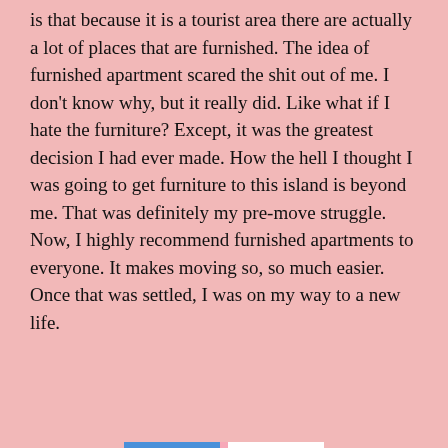is that because it is a tourist area there are actually a lot of places that are furnished. The idea of furnished apartment scared the shit out of me. I don't know why, but it really did. Like what if I hate the furniture? Except, it was the greatest decision I had ever made. How the hell I thought I was going to get furniture to this island is beyond me. That was definitely my pre-move struggle. Now, I highly recommend furnished apartments to everyone. It makes moving so, so much easier. Once that was settled, I was on my way to a new life.
Privacy & Cookies: This site uses cookies. By continuing to use this website, you agree to their use.
To find out more, including how to control cookies, see here: Cookie Policy
Close and accept